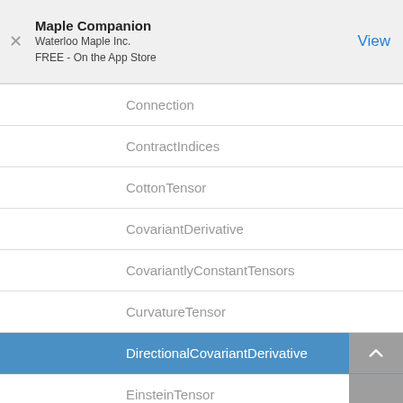Maple Companion
Waterloo Maple Inc.
FREE - On the App Store
Connection
ContractIndices
CottonTensor
CovariantDerivative
CovariantlyConstantTensors
CurvatureTensor
DirectionalCovariantDerivative
EinsteinTensor
FactorWeylSpinor